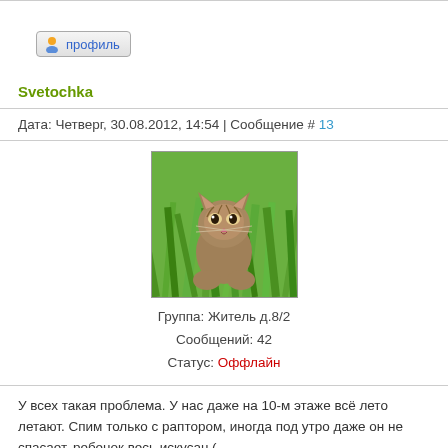[Figure (screenshot): Profile button with person icon, labeled профиль]
Svetochka
Дата: Четверг, 30.08.2012, 14:54 | Сообщение # 13
[Figure (photo): A small kitten sitting in green grass, avatar photo]
Группа: Житель д.8/2
Сообщений: 42
Статус: Оффлайн
У всех такая проблема. У нас даже на 10-м этаже всё лето летают. Спим только с раптором, иногда под утро даже он не спасает, ребенок весь искусан.(